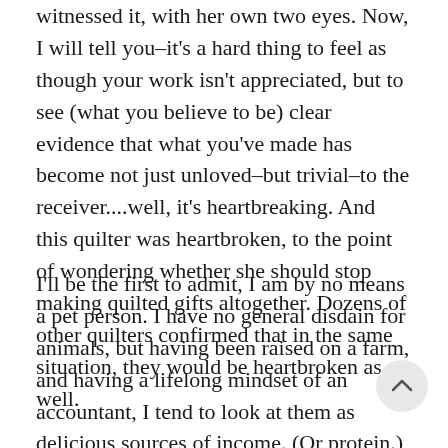witnessed it, with her own two eyes. Now, I will tell you–it's a hard thing to feel as though your work isn't appreciated, but to see (what you believe to be) clear evidence that what you've made has become not just unloved–but trivial–to the receiver....well, it's heartbreaking. And this quilter was heartbroken, to the point of wondering whether she should stop making quilted gifts altogether. Dozens of other quilters confirmed that in the same situation, they would be heartbroken as well.
I'll be the first to admit, I am by no means a pet person. I have no general disdain for animals, but having been raised on a farm, and having a lifelong mindset of an accountant, I tend to look at them as delicious sources of income. (Or protein.) Otherwise, they are virtually useless to